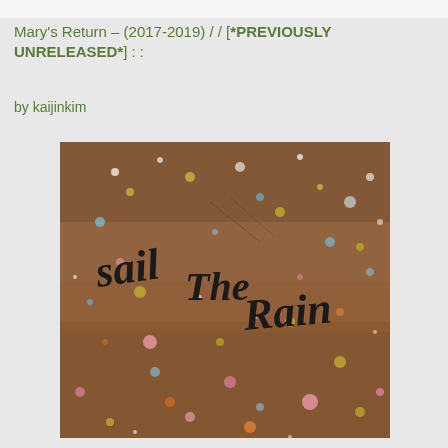Mary's Return – (2017-2019) / / [*PREVIOUSLY UNRELEASED*] : :
by kaijinkim
[Figure (photo): Album art or artwork showing a brown textured surface with colorful paint splatters (pink, yellow, blue, white, orange dots) and handwritten black cursive text reading 'sail The Rain']